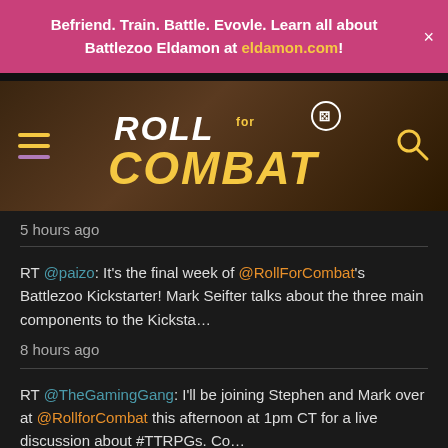Befriend. Train. Battle. Evovle. Learn all about Battlezoo Eldamon at eldamon.com!
[Figure (screenshot): Roll for Combat website header with hamburger menu, Roll for Combat logo, and search icon on dark background]
5 hours ago
RT @paizo: It's the final week of @RollForCombat's Battlezoo Kickstarter! Mark Seifter talks about the three main components to the Kicksta...
8 hours ago
RT @TheGamingGang: I'll be joining Stephen and Mark over at @RollforCombat this afternoon at 1pm CT for a live discussion about #TTRPGs. Co...
11 hours ago